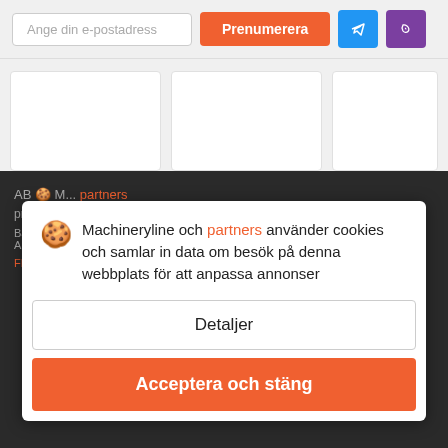[Figure (screenshot): Top bar with email input, orange Prenumerera button, blue Telegram icon button, purple Viber icon button]
[Figure (screenshot): Three white card placeholders on light grey background]
Machineryline och partners använder cookies och samlar in data om besök på denna webbplats för att anpassa annonser
Detaljer
Acceptera och stäng